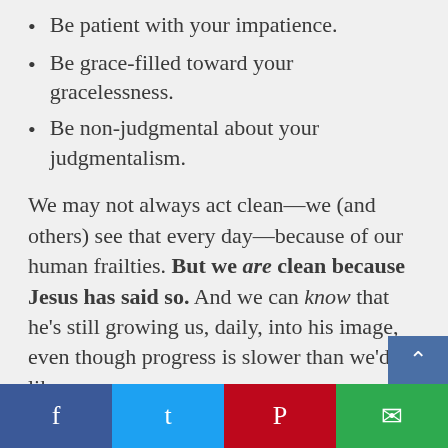Be patient with your impatience.
Be grace-filled toward your gracelessness.
Be non-judgmental about your judgmentalism.
We may not always act clean—we (and others) see that every day—because of our human frailties. But we are clean because Jesus has said so. And we can know that he's still growing us, daily, into his image, even though progress is slower than we'd like.
f   t   P   ✉